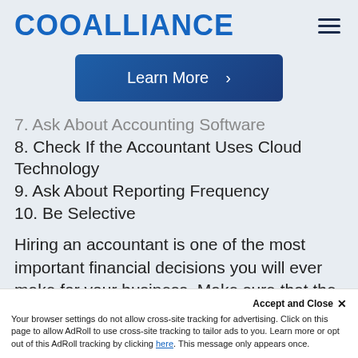COOALLIANCE
[Figure (other): Learn More button with chevron on blue gradient background]
7. Ask About Accounting Software
8. Check If the Accountant Uses Cloud Technology
9. Ask About Reporting Frequency
10. Be Selective
Hiring an accountant is one of the most important financial decisions you will ever make for your business. Make sure that the needs of your business are in
Accept and Close ×
Your browser settings do not allow cross-site tracking for advertising. Click on this page to allow AdRoll to use cross-site tracking to tailor ads to you. Learn more or opt out of this AdRoll tracking by clicking here. This message only appears once.